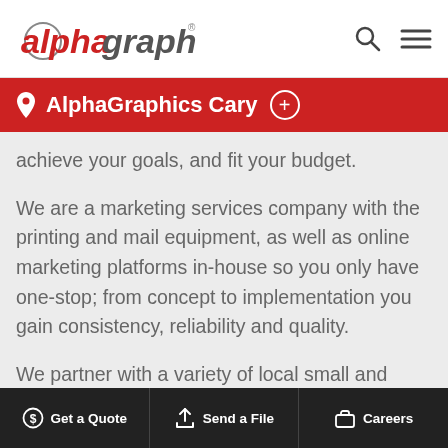alphagraphics
AlphaGraphics Cary
achieve your goals, and fit your budget.
We are a marketing services company with the printing and mail equipment, as well as online marketing platforms in-house so you only have one-stop; from concept to implementation you gain consistency, reliability and quality.
We partner with a variety of local small and large b
Get a Quote   Send a File   Careers